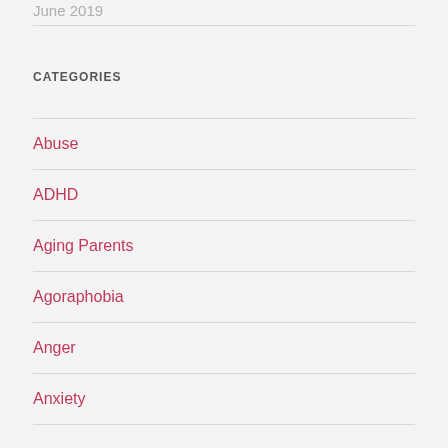June 2019
CATEGORIES
Abuse
ADHD
Aging Parents
Agoraphobia
Anger
Anxiety